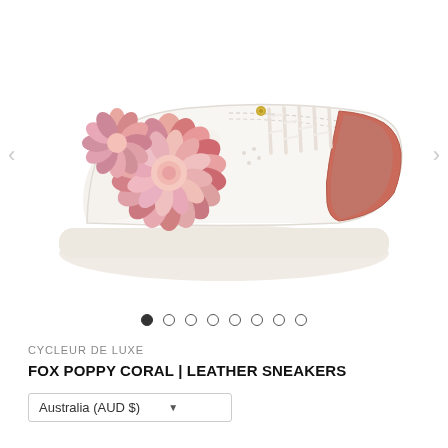[Figure (photo): White leather sneaker with floral (poppy coral) print on the side and coral/pink heel tab, shown from the side on a white background. Navigation arrows on left and right sides.]
CYCLEUR DE LUXE
FOX POPPY CORAL | LEATHER SNEAKERS
Australia (AUD $)